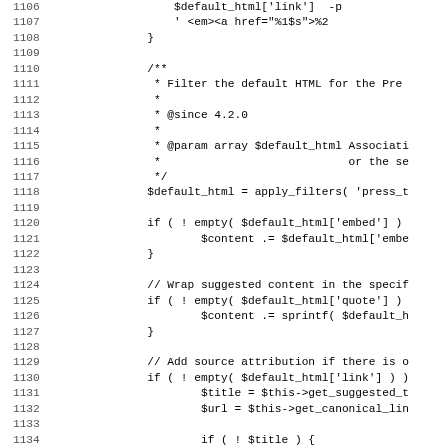Code listing lines 1106-1138, PHP source code
| line | code |
| --- | --- |
| 1106 |                     $default_html['link']  -p |
| 1107 |                     ' <em><a href="%1$s">%2 |
| 1108 |                 } |
| 1109 |  |
| 1110 |                 /** |
| 1111 |                  * Filter the default HTML for the Pre |
| 1112 |                  * |
| 1113 |                  * @since 4.2.0 |
| 1114 |                  * |
| 1115 |                  * @param array $default_html Associati |
| 1116 |                  *                            or the se |
| 1117 |                  */ |
| 1118 |                 $default_html = apply_filters( 'press_t |
| 1119 |  |
| 1120 |                 if ( ! empty( $default_html['embed'] ) |
| 1121 |                         $content .= $default_html['embe |
| 1122 |                 } |
| 1123 |  |
| 1124 |                 // Wrap suggested content in the specif |
| 1125 |                 if ( ! empty( $default_html['quote'] ) |
| 1126 |                         $content .= sprintf( $default_h |
| 1127 |                 } |
| 1128 |  |
| 1129 |                 // Add source attribution if there is o |
| 1130 |                 if ( ! empty( $default_html['link'] ) ) |
| 1131 |                         $title = $this->get_suggested_t |
| 1132 |                         $url = $this->get_canonical_lin |
| 1133 |  |
| 1134 |                         if ( ! $title ) { |
| 1135 |                                 $title = $this->get_sou |
| 1136 |                         } |
| 1137 |  |
| 1138 |                         if ( $url && $title ) { |